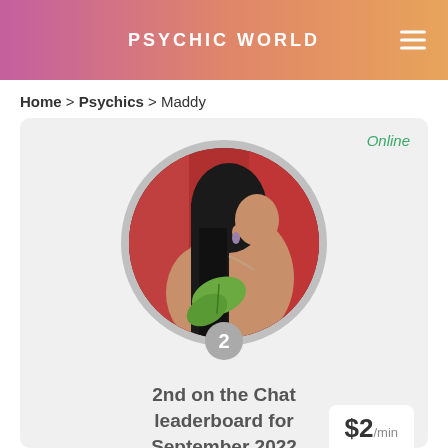PSYCHIC WORLD
Home > Psychics > Maddy
[Figure (photo): Profile card for psychic Maddy showing a woman seen from behind with long black hair against a red background, with a green leaf overlay. A circular avatar with a gray border and a badge showing '2' at the bottom. Text reads '2nd on the Chat leaderboard for September 2022'. Online badge in green. Price shown as $2/min.]